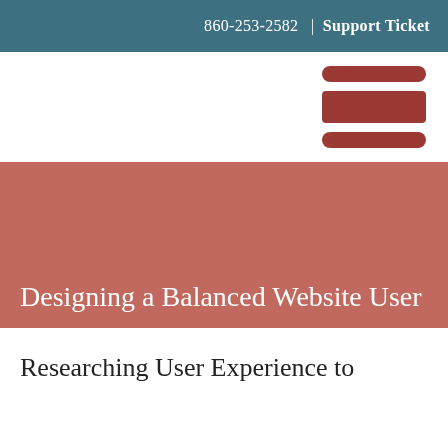860-253-2582  |  Support Ticket
[Figure (other): Hamburger menu icon with three rounded red bars]
Designing a Balanced Website User
Researching User Experience to